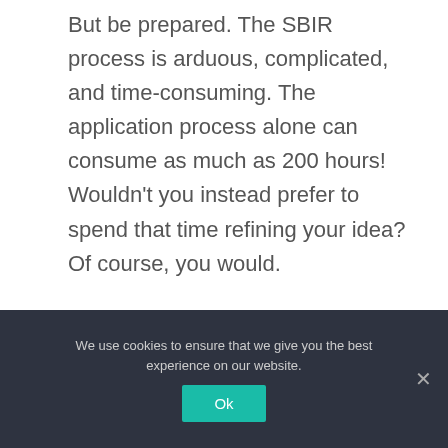But be prepared. The SBIR process is arduous, complicated, and time-consuming. The application process alone can consume as much as 200 hours! Wouldn't you instead prefer to spend that time refining your idea? Of course, you would.

Many rules govern SBIR grants and countless compliance
We use cookies to ensure that we give you the best experience on our website.